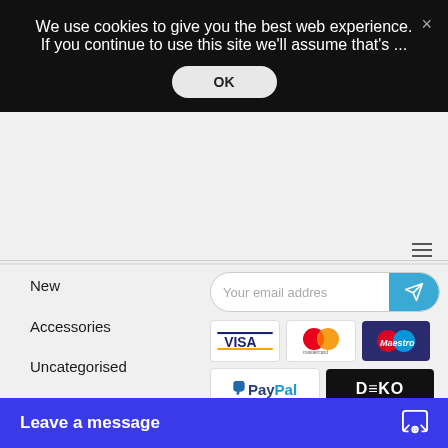We use cookies to give you the best web experience. If you continue to use this site we'll assume that's ...
OK
New
Accessories
Uncategorised
DJ Gear
Lighting
Live Sound
Sale
Stage & Truss
Studio
[Figure (screenshot): Email newsletter signup input field with blue send button]
[Figure (screenshot): Payment method logos: VISA, Mastercard, Maestro, PayPal, DEKO]
[Figure (screenshot): Google Rating card showing 4.7 stars with 4.5 star display]
Leave a message